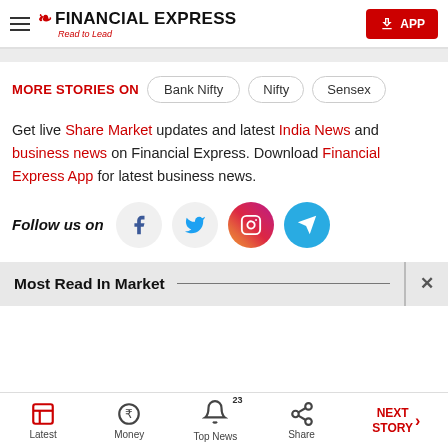FINANCIAL EXPRESS — Read to Lead
MORE STORIES ON   Bank Nifty   Nifty   Sensex
Get live Share Market updates and latest India News and business news on Financial Express. Download Financial Express App for latest business news.
Follow us on [Facebook] [Twitter] [Instagram] [Telegram]
Most Read In Market
Latest   Money   Top News (23)   Share   NEXT STORY